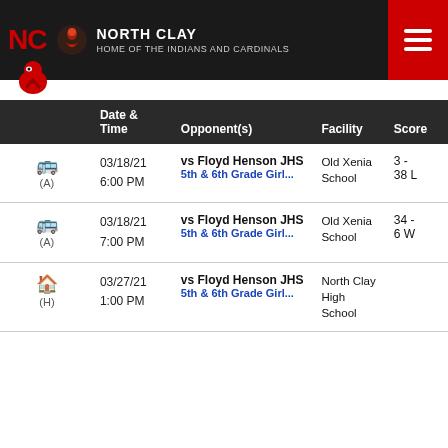NORTH CLAY — HOME OF THE INDIANS AND CARDINALS
|  | Date & Time | Opponent(s) | Facility | Score |
| --- | --- | --- | --- | --- |
| 🚌 (A) | 03/18/21 6:00 PM | vs Floyd Henson JHS 5th & 6th Grade Girl... | Old Xenia School | 3 - 38 L |
| 🚌 (A) | 03/18/21 7:00 PM | vs Floyd Henson JHS 5th & 6th Grade Girl... | Old Xenia School | 34 - 6 W |
| 🏠 (H) | 03/27/21 1:00 PM | vs Floyd Henson JHS 5th & 6th Grade Girl... | North Clay High School |  |